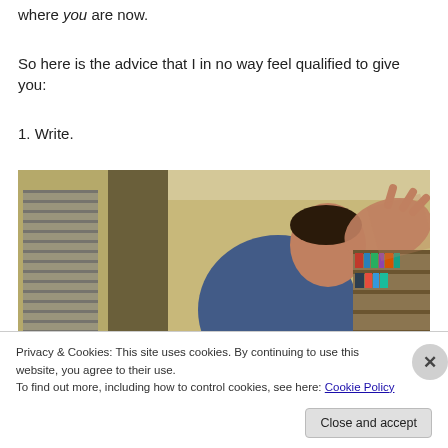where you are now.
So here is the advice that I in no way feel qualified to give you:
1. Write.
[Figure (photo): A man in a blue shirt with his hand raised, appearing to be in a living room setting with a bookshelf visible in the background.]
Privacy & Cookies: This site uses cookies. By continuing to use this website, you agree to their use.
To find out more, including how to control cookies, see here: Cookie Policy
Close and accept